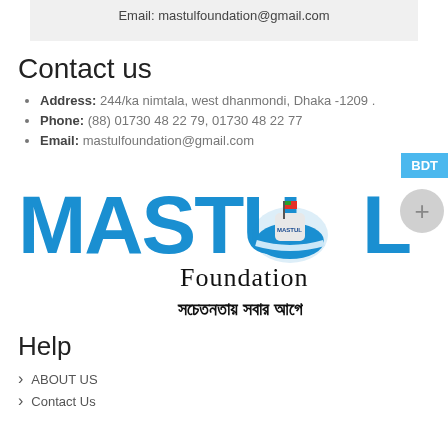Email: mastulfoundation@gmail.com
Contact us
Address: 244/ka nimtala, west dhanmondi, Dhaka -1209 .
Phone: (88) 01730 48 22 79,  01730 48 22 77
Email: mastulfoundation@gmail.com
[Figure (logo): Mastul Foundation logo with blue text MASTUL, boat illustration, and Bengali tagline]
Help
ABOUT US
Contact Us